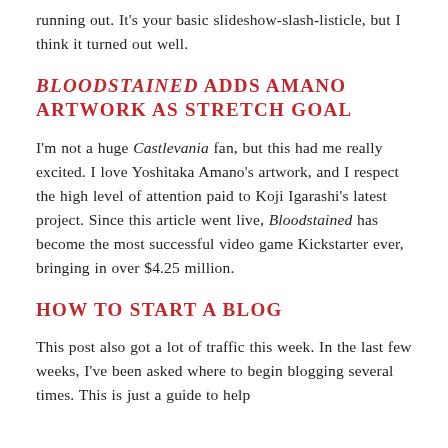running out. It's your basic slideshow-slash-listicle, but I think it turned out well.
BLOODSTAINED ADDS AMANO ARTWORK AS STRETCH GOAL
I'm not a huge Castlevania fan, but this had me really excited. I love Yoshitaka Amano's artwork, and I respect the high level of attention paid to Koji Igarashi's latest project. Since this article went live, Bloodstained has become the most successful video game Kickstarter ever, bringing in over $4.25 million.
HOW TO START A BLOG
This post also got a lot of traffic this week. In the last few weeks, I've been asked where to begin blogging several times. This is just a guide to help